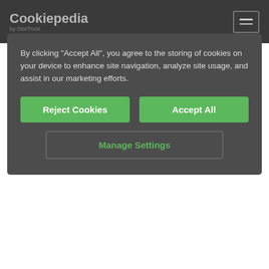Cookiepedia by OneTrust
By clicking "Accept All", you agree to the storing of cookies on your device to enhance site navigation, analyze site usage, and assist in our marketing efforts.
Reject Cookies | Accept All | Manage Settings
For example, if you visit a site that has a YouTube video in one of its pages. This has been included by the website owner, using a piece of code provided by YouTube. YouTube will then be able to set cookies through this code, and know that you have watched that video, or even just visited the